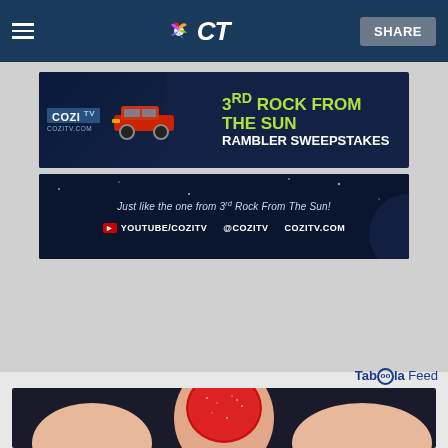NBC CT — SHARE
[Figure (screenshot): COZI TV advertisement banner: '3RD ROCK FROM THE SUN RAMBLER SWEEPSTAKES' with red car, COZITV.COM branding on dark blue background]
[Figure (screenshot): COZI TV secondary banner: 'Just like the one from 3rd Rock From The Sun!' with YouTube/COZITV and @COZITV and COZITV.COM links on dark blue background]
[Figure (other): Taboola Feed logo/label in blue text]
[Figure (photo): Close-up photo of a hand holding a red sugary gummy candy against a dark background]